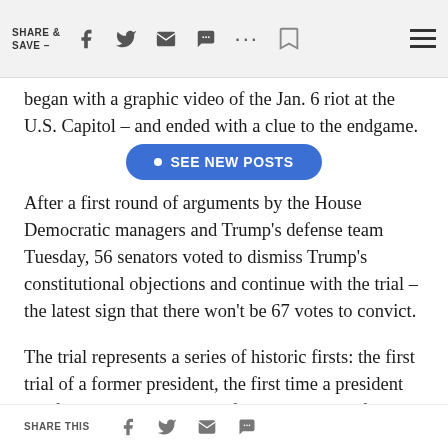SHARE & SAVE –
began with a graphic video of the Jan. 6 riot at the U.S. Capitol – and ended with a clue to the endgame.
• SEE NEW POSTS
After a first round of arguments by the House Democratic managers and Trump's defense team Tuesday, 56 senators voted to dismiss Trump's constitutional objections and continue with the trial – the latest sign that there won't be 67 votes to convict.
The trial represents a series of historic firsts: the first trial of a former president, the first time a president has faced two trials and the first time the chief justice of the United States isn't presiding when a president is on trial.
Here are four takeaways from the first day.
SHARE THIS